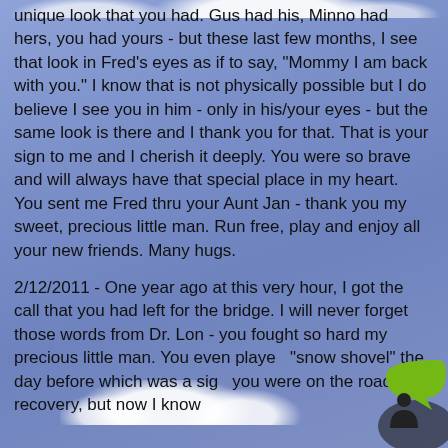unique look that you had. Gus had his, Minno had hers, you had yours - but these last few months, I see that look in Fred's eyes as if to say, "Mommy I am back with you." I know that is not physically possible but I do believe I see you in him - only in his/your eyes - but the same look is there and I thank you for that. That is your sign to me and I cherish it deeply. You were so brave and will always have that special place in my heart. You sent me Fred thru your Aunt Jan - thank you my sweet, precious little man. Run free, play and enjoy all your new friends. Many hugs.
2/12/2011 - One year ago at this very hour, I got the call that you had left for the bridge. I will never forget those words from Dr. Lon - you fought so hard my precious little man. You even played "snow shovel" the day before which was a sign you were on the road to recovery, but now I know